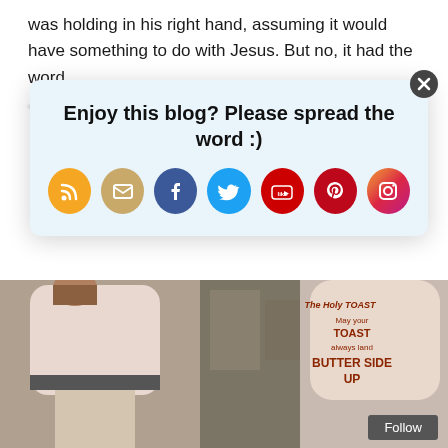was holding in his right hand, assuming it would have something to do with Jesus. But no, it had the word [blurred text]
[Figure (screenshot): A popup overlay on a blog page saying 'Enjoy this blog? Please spread the word :)' with social media share icons for RSS, Email, Facebook, Twitter, YouTube, Pinterest, and Instagram. A close (X) button is in the top right corner.]
[Figure (photo): A street photo showing people wearing large toast-shaped costumes. The toast costume on the right reads: 'The Holy Toast / May your TOAST always land BUTTER SIDE UP']
Follow